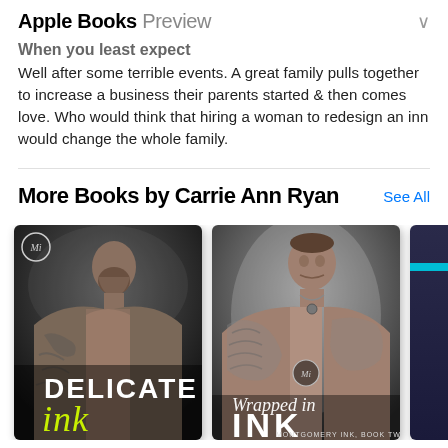Apple Books Preview
When you least expect
Well after some terrible events. A great family pulls together to increase a business their parents started & then comes love. Who would think that hiring a woman to redesign an inn would change the whole family.
More Books by Carrie Ann Ryan
[Figure (photo): Book cover: Delicate Ink by Carrie Ann Ryan — dark moody photo of shirtless tattooed man looking down, black and white tones, green neon text at bottom reading DELICATE ink]
[Figure (photo): Book cover: Wrapped in Ink by Carrie Ann Ryan — photo of muscular tattooed man on grey background, title in script and block letters]
[Figure (photo): Partial book cover, third in row — dark blue/purple background with teal stripe, partially visible]